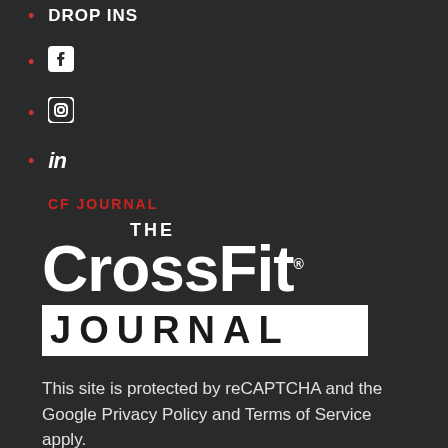DROP INS
Facebook icon
Instagram icon
LinkedIn icon
CF JOURNAL
[Figure (logo): The CrossFit Journal logo — 'THE' in small caps above large 'CrossFit' text with registered trademark, and 'JOURNAL' in a white rectangle beneath]
This site is protected by reCAPTCHA and the Google Privacy Policy and Terms of Service apply.